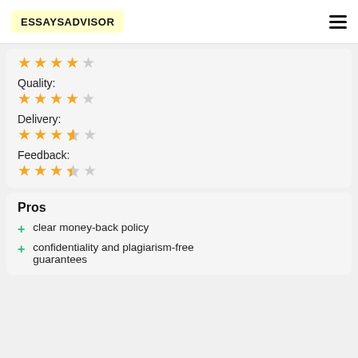ESSAYSADVISOR
[Figure (other): Star rating row showing 4 filled stars and 1 empty star]
Quality:
[Figure (other): Quality star rating: 4 filled stars and 1 empty star]
Delivery:
[Figure (other): Delivery star rating: 4 filled stars (last half) and 1 empty star]
Feedback:
[Figure (other): Feedback star rating: 3 filled stars, 1 half star, 1 empty star]
Pros
clear money-back policy
confidentiality and plagiarism-free guarantees